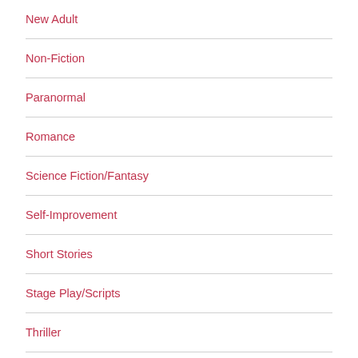New Adult
Non-Fiction
Paranormal
Romance
Science Fiction/Fantasy
Self-Improvement
Short Stories
Stage Play/Scripts
Thriller
Uncategorized